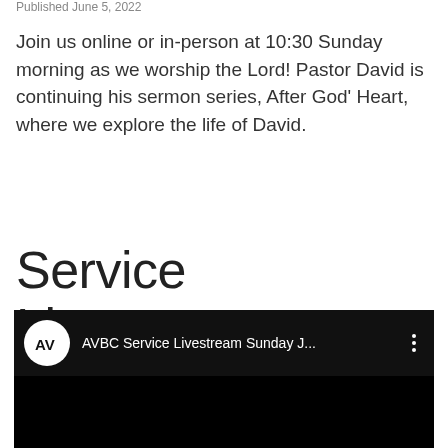Published June 5, 2022
Join us online or in-person at 10:30 Sunday morning as we worship the Lord! Pastor David is continuing his sermon series, After God’ Heart, where we explore the life of David.
Service Livestream
[Figure (screenshot): Embedded YouTube-style video player showing AVBC Service Livestream Sunday J... with a white circular logo containing the letters AV on a black background]